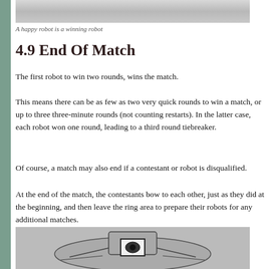[Figure (illustration): Top portion of a sketch/illustration of a robot, cropped at the top of the page]
A happy robot is a winning robot
4.9 End Of Match
The first robot to win two rounds, wins the match.
This means there can be as few as two very quick rounds to win a match, or up to three three-minute rounds (not counting restarts). In the latter case, each robot won one round, leading to a third round tiebreaker.
Of course, a match may also end if a contestant or robot is disqualified.
At the end of the match, the contestants bow to each other, just as they did at the beginning, and then leave the ring area to prepare their robots for any additional matches.
[Figure (illustration): Sketch/illustration of a robot with a distinctive eye-like symbol on its body, shown from the front]